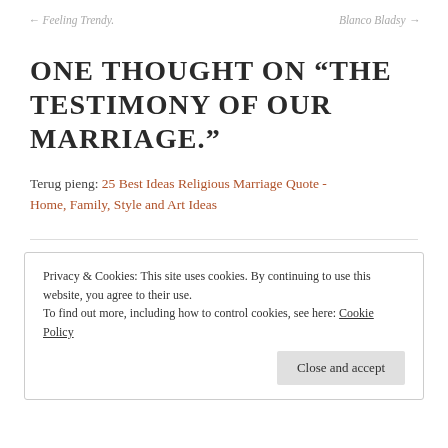← Feeling Trendy.    Blanco Bladsy →
ONE THOUGHT ON “THE TESTIMONY OF OUR MARRIAGE.”
Terug pieng: 25 Best Ideas Religious Marriage Quote - Home, Family, Style and Art Ideas
Privacy & Cookies: This site uses cookies. By continuing to use this website, you agree to their use.
To find out more, including how to control cookies, see here: Cookie Policy
Close and accept